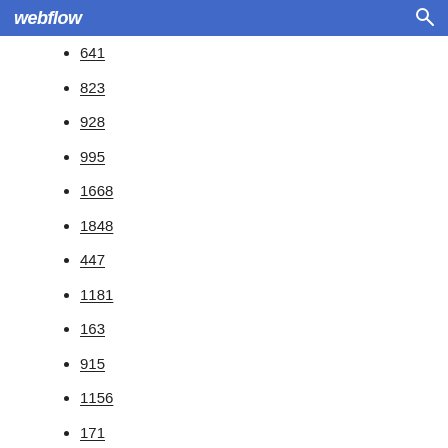webflow
641
823
928
995
1668
1848
447
1181
163
915
1156
171
287